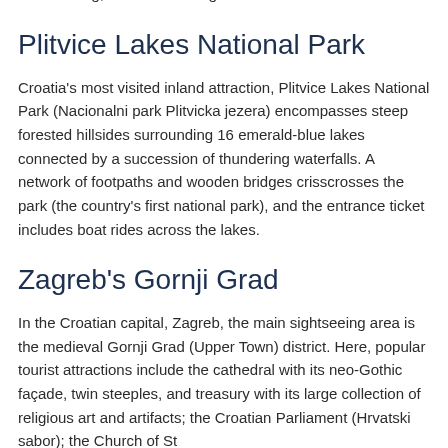pebble beaches offer things to do such as scuba diving, water skiing, and windsurfing.
Plitvice Lakes National Park
Croatia's most visited inland attraction, Plitvice Lakes National Park (Nacionalni park Plitvicka jezera) encompasses steep forested hillsides surrounding 16 emerald-blue lakes connected by a succession of thundering waterfalls. A network of footpaths and wooden bridges crisscrosses the park (the country's first national park), and the entrance ticket includes boat rides across the lakes.
Zagreb's Gornji Grad
In the Croatian capital, Zagreb, the main sightseeing area is the medieval Gornji Grad (Upper Town) district. Here, popular tourist attractions include the cathedral with its neo-Gothic façade, twin steeples, and treasury with its large collection of religious art and artifacts; the Croatian Parliament (Hrvatski sabor); the Church of St...